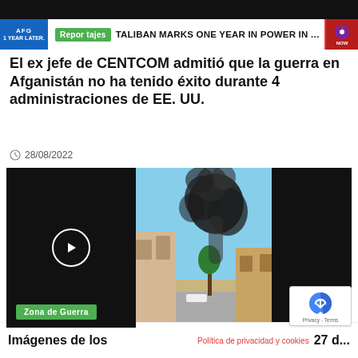[Figure (screenshot): News ticker bar showing 'Reportajes' green tag, 'AFG 1 YEAR LATER' blue label, headline 'TALIBAN MARKS ONE YEAR IN POWER IN AFGHANISTAN', NBC NOW logo]
El ex jefe de CENTCOM admitió que la guerra en Afganistán no ha tenido éxito durante 4 administraciones de EE. UU.
28/08/2022
[Figure (screenshot): Video thumbnail showing play button on dark left side, center shows black smoke rising over buildings in a street scene, dark right side. Green label 'Zona de Guerra' at bottom left. reCAPTCHA badge at bottom right.]
Imágenes de los ... Política de privacidad y cookies ... 27 d... Agosto 2022